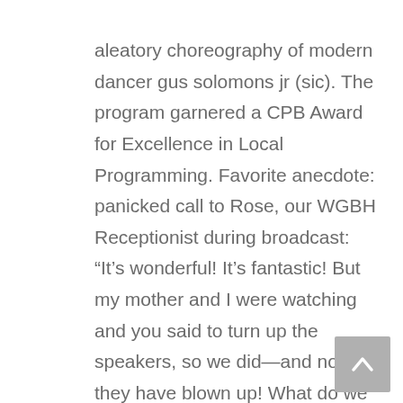aleatory choreography of modern dancer gus solomons jr (sic). The program garnered a CPB Award for Excellence in Local Programming. Favorite anecdote: panicked call to Rose, our WGBH Receptionist during broadcast: “It’s wonderful! It’s fantastic! But my mother and I were watching and you said to turn up the speakers, so we did—and now they have blown up! What do we do?!” John Morris did the really aggressive Sound Score, with a Word Score by Mary Feldhaus-Weber based on 16 hours of taped urban noise and 14 hours of recorded interviews with Gus in various urban